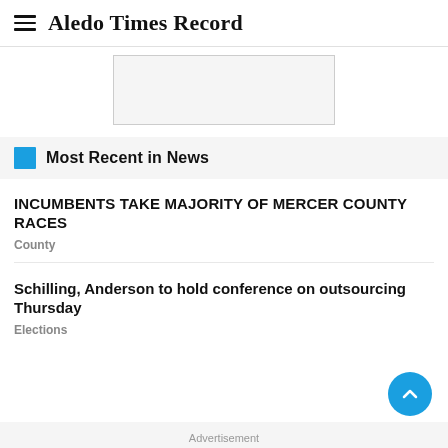Aledo Times Record
[Figure (other): Advertisement placeholder box, light gray with border]
Most Recent in News
INCUMBENTS TAKE MAJORITY OF MERCER COUNTY RACES
County
Schilling, Anderson to hold conference on outsourcing Thursday
Elections
Advertisement